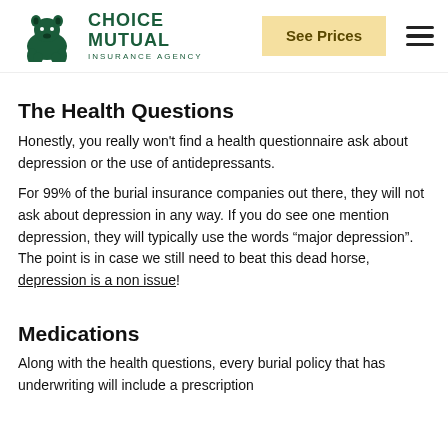Choice Mutual Insurance Agency | See Prices
The Health Questions
Honestly, you really won't find a health questionnaire ask about depression or the use of antidepressants.
For 99% of the burial insurance companies out there, they will not ask about depression in any way. If you do see one mention depression, they will typically use the words “major depression”. The point is in case we still need to beat this dead horse, depression is a non issue!
Medications
Along with the health questions, every burial policy that has underwriting will include a prescription